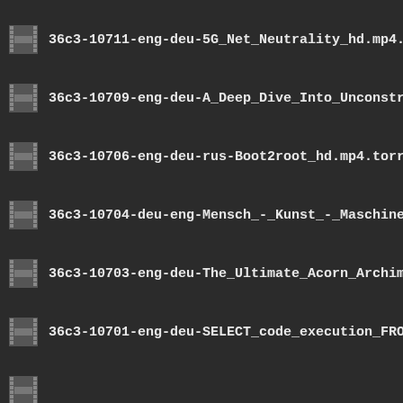36c3-10711-eng-deu-5G_Net_Neutrality_hd.mp4.torrent
36c3-10709-eng-deu-A_Deep_Dive_Into_Unconstrained...
36c3-10706-eng-deu-rus-Boot2root_hd.mp4.torrent
36c3-10704-deu-eng-Mensch_-_Kunst_-_Maschine_h...
36c3-10703-eng-deu-The_Ultimate_Acorn_Archimede...
36c3-10701-eng-deu-SELECT_code_execution_FROM_...
(partial item at bottom)